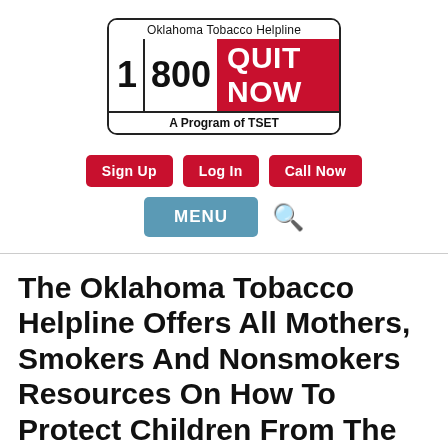[Figure (logo): Oklahoma Tobacco Helpline logo with 1-800-QUIT NOW and 'A Program of TSET']
[Figure (screenshot): Navigation buttons: Sign Up, Log In, Call Now (red), and MENU (blue) with a search icon]
The Oklahoma Tobacco Helpline Offers All Mothers, Smokers And Nonsmokers Resources On How To Protect Children From The Risks Of Smoking: